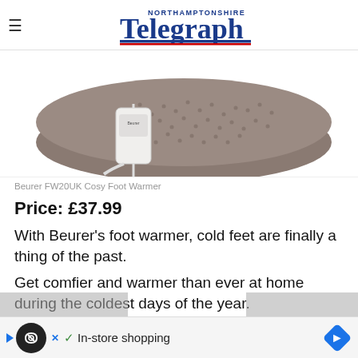Northamptonshire Telegraph
[Figure (photo): A grey Beurer FW20UK Cosy Foot Warmer with a white controller cable, photographed against a white background.]
Beurer FW20UK Cosy Foot Warmer
Price: £37.99
With Beurer's foot warmer, cold feet are finally a thing of the past.
Get comfier and warmer than ever at home during the coldest days of the year.
The i...